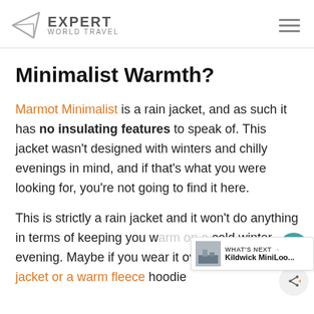EXPERT WORLD TRAVEL
Minimalist Warmth?
Marmot Minimalist is a rain jacket, and as such it has no insulating features to speak of. This jacket wasn't designed with winters and chilly evenings in mind, and if that's what you were looking for, you're not going to find it here.
This is strictly a rain jacket and it won't do anything in terms of keeping you warm on a cold winter evening. Maybe if you wear it over an insulated jacket or a warm fleece hoodie